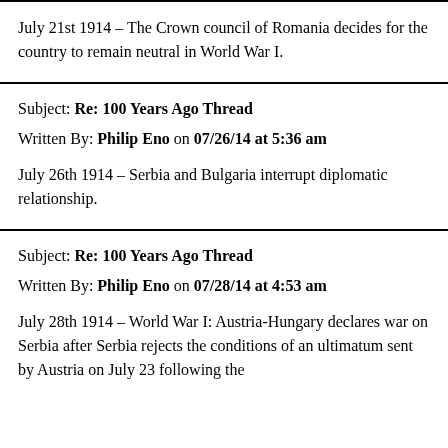July 21st 1914 – The Crown council of Romania decides for the country to remain neutral in World War I.
Subject: Re: 100 Years Ago Thread
Written By: Philip Eno on 07/26/14 at 5:36 am
July 26th 1914 – Serbia and Bulgaria interrupt diplomatic relationship.
Subject: Re: 100 Years Ago Thread
Written By: Philip Eno on 07/28/14 at 4:53 am
July 28th 1914 – World War I: Austria-Hungary declares war on Serbia after Serbia rejects the conditions of an ultimatum sent by Austria on July 23 following the